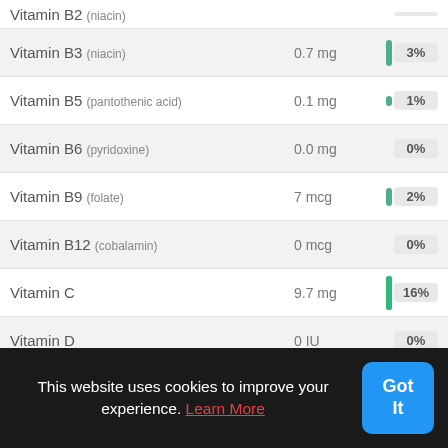| Nutrient | Amount | % DV |
| --- | --- | --- |
| Vitamin B2 (niacin) | ~ | ~ |
| Vitamin B3 (niacin) | 0.7 mg | 3% |
| Vitamin B5 (pantothenic acid) | 0.1 mg | 1% |
| Vitamin B6 (pyridoxine) | 0.0 mg | 0% |
| Vitamin B9 (folate) | 7 mcg | 2% |
| Vitamin B12 (cobalamin) | 0 mcg | 0% |
| Vitamin C | 9.7 mg | 16% |
| Vitamin D | 0 IU | 0% |
| Vitamin E | ~ |  |
| Vitamin K | ~ |  |
This website uses cookies to improve your experience. Learn More
Got It